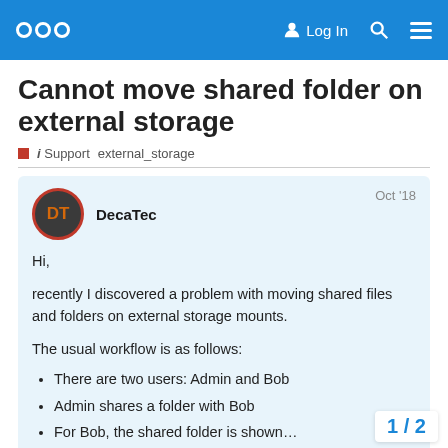Nextcloud community forum header with logo, Log In, search, and menu icons
Cannot move shared folder on external storage
i Support   external_storage
DecaTec   Oct '18
Hi,
recently I discovered a problem with moving shared files and folders on external storage mounts.
The usual workflow is as follows:
There are two users: Admin and Bob
Admin shares a folder with Bob
For Bob, the shared folder is shown…
Now Bob can move the shared fold…
1 / 2